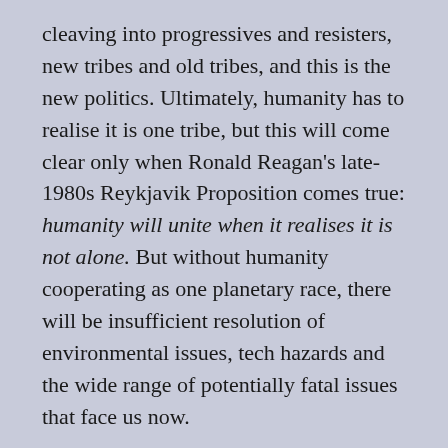cleaving into progressives and resisters, new tribes and old tribes, and this is the new politics. Ultimately, humanity has to realise it is one tribe, but this will come clear only when Ronald Reagan's late-1980s Reykjavik Proposition comes true: humanity will unite when it realises it is not alone. But without humanity cooperating as one planetary race, there will be insufficient resolution of environmental issues, tech hazards and the wide range of potentially fatal issues that face us now.
So we're being accelerated, and it is reasonable to expect further crises ahead, and particularly multiple crises happening at